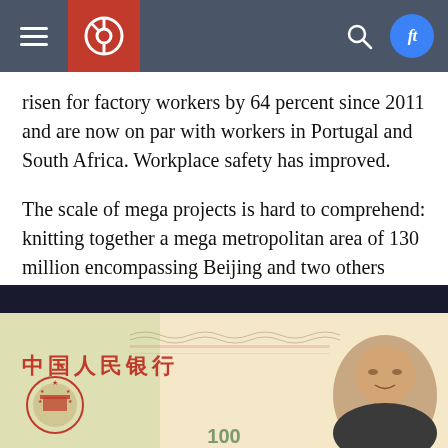Navigation bar with hamburger menu, logo, search icon, and FT badge
risen for factory workers by 64 percent since 2011 and are now on par with workers in Portugal and South Africa. Workplace safety has improved.
The scale of mega projects is hard to comprehend: knitting together a mega metropolitan area of 130 million encompassing Beijing and two others cities, water diversion from the south to the north, tunnel projects under the ocean, etc.
[Figure (photo): Close-up photo of a Chinese 100 Yuan RMB banknote showing the inscription 中国人民银行 (People's Bank of China) in red text, with Mao Zedong's portrait on the right side and the national emblem on the left.]